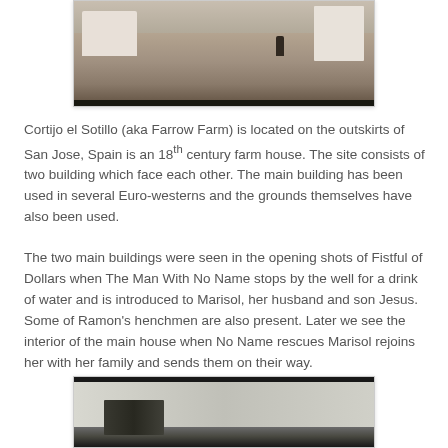[Figure (photo): Exterior desert landscape with white adobe/farm buildings, rocky terrain, and a figure in the distance. Black bar at bottom of frame.]
Cortijo el Sotillo (aka Farrow Farm) is located on the outskirts of San Jose, Spain is an 18th century farm house. The site consists of two building which face each other. The main building has been used in several Euro-westerns and the grounds themselves have also been used.
The two main buildings were seen in the opening shots of Fistful of Dollars when The Man With No Name stops by the well for a drink of water and is introduced to Marisol, her husband and son Jesus. Some of Ramon’s henchmen are also present. Later we see the interior of the main house when No Name rescues Marisol rejoins her with her family and sends them on their way.
[Figure (photo): Still from a film showing white-walled building exterior with figures in the foreground. Black bar at top of frame.]